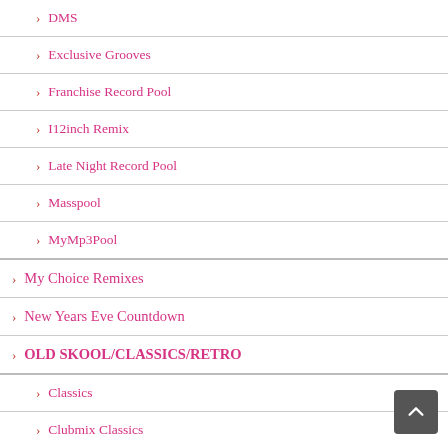DMS
Exclusive Grooves
Franchise Record Pool
I12inch Remix
Late Night Record Pool
Masspool
MyMp3Pool
My Choice Remixes
New Years Eve Countdown
OLD SKOOL/CLASSICS/RETRO
Classics
Clubmix Classics